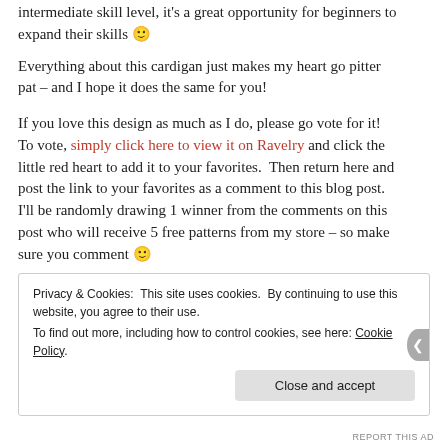intermediate skill level, it's a great opportunity for beginners to expand their skills 🙂
Everything about this cardigan just makes my heart go pitter pat – and I hope it does the same for you!
If you love this design as much as I do, please go vote for it!  To vote, simply click here to view it on Ravelry and click the little red heart to add it to your favorites.  Then return here and post the link to your favorites as a comment to this blog post.
I'll be randomly drawing 1 winner from the comments on this post who will receive 5 free patterns from my store – so make sure you comment 🙂
Privacy & Cookies: This site uses cookies. By continuing to use this website, you agree to their use.
To find out more, including how to control cookies, see here: Cookie Policy